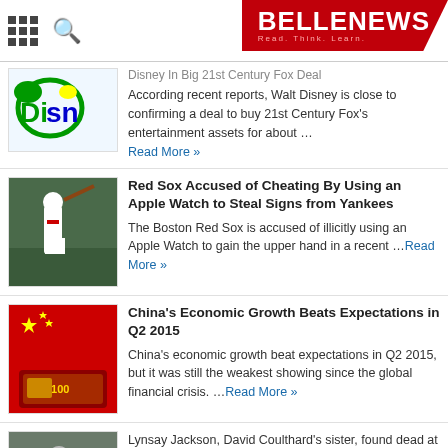BELLENEWS - Read. Think. Learn.
[Figure (screenshot): Partial Disney logo visible at top left of first news item]
Disney In Big 21st Century Fox Deal - According recent reports, Walt Disney is close to confirming a deal to buy 21st Century Fox's entertainment assets for about ... Read More »
[Figure (photo): Baseball player batting at stadium]
Red Sox Accused of Cheating By Using an Apple Watch to Steal Signs from Yankees
The Boston Red Sox is accused of illicitly using an Apple Watch to gain the upper hand in a recent ...Read More »
[Figure (photo): Chinese flag with yuan banknotes]
China's Economic Growth Beats Expectations in Q2 2015
China's economic growth beat expectations in Q2 2015, but it was still the weakest showing since the global financial crisis. ...Read More »
[Figure (photo): Group of people outdoors]
Lynsay Jackson, David Coulthard's sister, found dead at her Scottish home
Lynsay Jackson ...driver David
Privacy & Cookies Policy